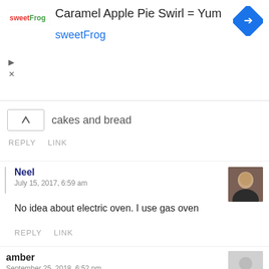[Figure (screenshot): Ad banner for sweetFrog with logo, title 'Caramel Apple Pie Swirl = Yum', subtitle 'sweetFrog' in blue, and a blue diamond navigation arrow icon on the right]
cakes and bread
REPLY   LINK
Neel
July 15, 2017, 6:59 am
No idea about electric oven. I use gas oven
REPLY   LINK
amber
September 25, 2018, 6:52 pm